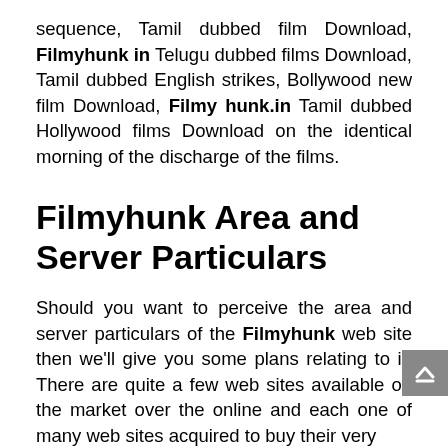sequence, Tamil dubbed film Download, Filmyhunk in Telugu dubbed films Download, Tamil dubbed English strikes, Bollywood new film Download, Filmy hunk.in Tamil dubbed Hollywood films Download on the identical morning of the discharge of the films.
Filmyhunk Area and Server Particulars
Should you want to perceive the area and server particulars of the Filmyhunk web site then we'll give you some plans relating to it. There are quite a few web sites available on the market over the online and each one of many web sites acquired to buy their very